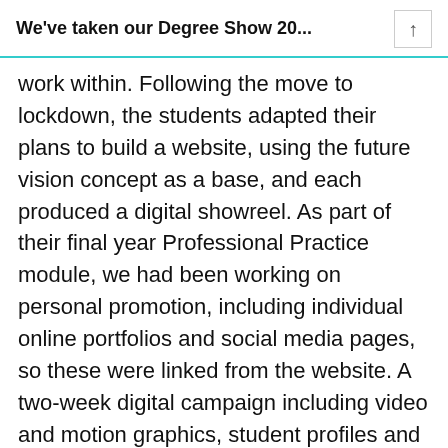We've taken our Degree Show 20...
work within. Following the move to lockdown, the students adapted their plans to build a website, using the future vision concept as a base, and each produced a digital showreel. As part of their final year Professional Practice module, we had been working on personal promotion, including individual online portfolios and social media pages, so these were linked from the website. A two-week digital campaign including video and motion graphics, student profiles and a countdown gathered momentum daily, counting down to the launch of the website at 3pm on 15 May, the original date that had been planned for the